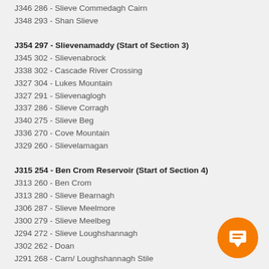J346 286 - Slieve Commedagh Cairn
J348 293 - Shan Slieve
J354 297 - Slievenamaddy (Start of Section 3)
J345 302 - Slievenabrock
J338 302 - Cascade River Crossing
J327 304 - Lukes Mountain
J327 291 - Slievenaglogh
J337 286 - Slieve Corragh
J340 275 - Slieve Beg
J336 270 - Cove Mountain
J329 260 - Slievelamagan
J315 254 - Ben Crom Reservoir (Start of Section 4)
J313 260 - Ben Crom
J313 280 - Slieve Bearnagh
J306 287 - Slieve Meelmore
J300 279 - Slieve Meelbeg
J294 272 - Slieve Loughshannagh
J302 262 - Doan
J291 268 - Carn/ Loughshannagh Stile